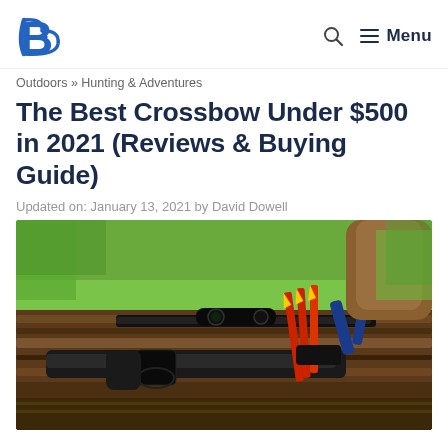B logo | search | Menu
Outdoors » Hunting & Adventures
The Best Crossbow Under $500 in 2021 (Reviews & Buying Guide)
Updated on: January 13, 2021 by David Dowell
[Figure (photo): A crossbow with red and yellow bolts leaning against a wooden log, with green grass in the background]